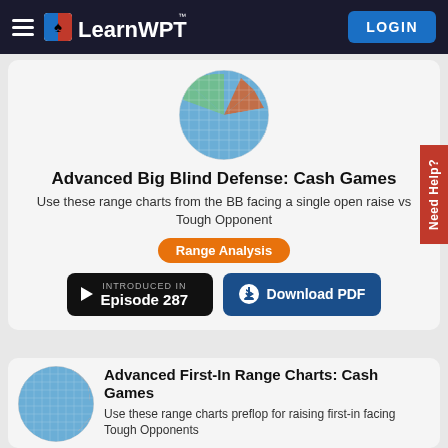LearnWPT — LOGIN
[Figure (illustration): Circular poker range chart icon with blue, green, and orange/red grid sections]
Advanced Big Blind Defense: Cash Games
Use these range charts from the BB facing a single open raise vs Tough Opponent
Range Analysis
INTRODUCED IN Episode 287
Download PDF
[Figure (illustration): Circular poker range chart icon with blue and orange/salmon grid sections]
Advanced First-In Range Charts: Cash Games
Use these range charts preflop for raising first-in facing Tough Opponents